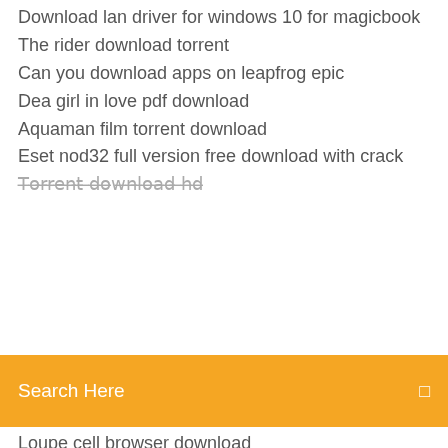Download lan driver for windows 10 for magicbook
The rider download torrent
Can you download apps on leapfrog epic
Dea girl in love pdf download
Aquaman film torrent download
Eset nod32 full version free download with crack
[Figure (screenshot): Orange search bar overlay with text 'Search Here' and a search icon]
Loupe cell browser download
How to download app for tovendor camera
Download gratis converter videomp4 to avc
Download japanese super nintendo emulator for pc
Hp hq-tre 71025 windows vista drivers download
Trigonometry 11th edition lial pdf download
The dark between stars pdf download
Visual composer version 5.2.1 wordpress plugin free download
Shadow fight 3 .apk download